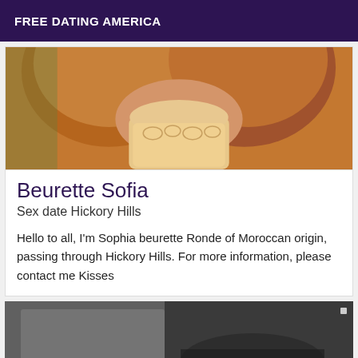FREE DATING AMERICA
[Figure (photo): Close-up photo of a person's chest/torso in a lace bra, warm brown tones]
Beurette Sofia
Sex date Hickory Hills
Hello to all, I'm Sophia beurette Ronde of Moroccan origin, passing through Hickory Hills. For more information, please contact me Kisses
[Figure (photo): Dimly lit photo of a person lying down, dark and blurry tones]